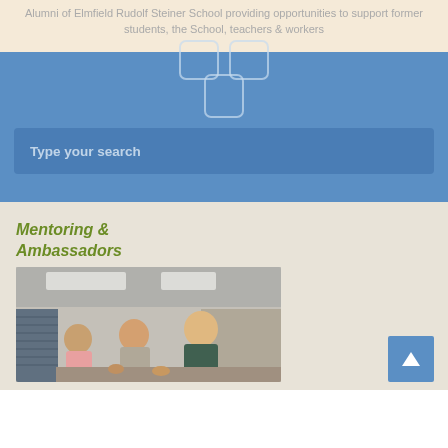Alumni of Elmfield Rudolf Steiner School providing opportunities to support former students, the School, teachers & workers
[Figure (screenshot): Search bar UI with two square icon boxes above and a blue search input field with placeholder text 'Type your search']
Mentoring & Ambassadors
[Figure (photo): Students working together at a table in a classroom, group of young men studying together]
[Figure (other): Back to top button - blue square with white upward arrow]